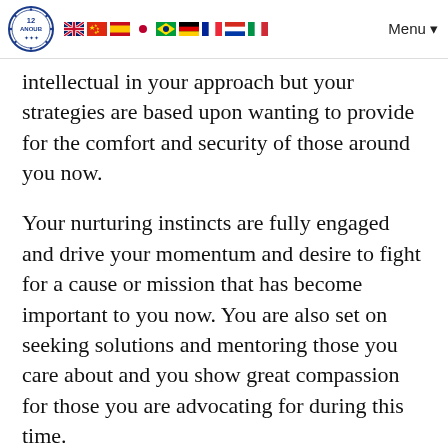[Logo: 12 ANOUB] [Flags: UK, China, Spain, Japan, Brazil, Germany, France, Russia, Italy] Menu
intellectual in your approach but your strategies are based upon wanting to provide for the comfort and security of those around you now.
Your nurturing instincts are fully engaged and drive your momentum and desire to fight for a cause or mission that has become important to you now. You are also set on seeking solutions and mentoring those you care about and you show great compassion for those you are advocating for during this time.
You may also see an activist group or campaign as being an extension of family or like family to